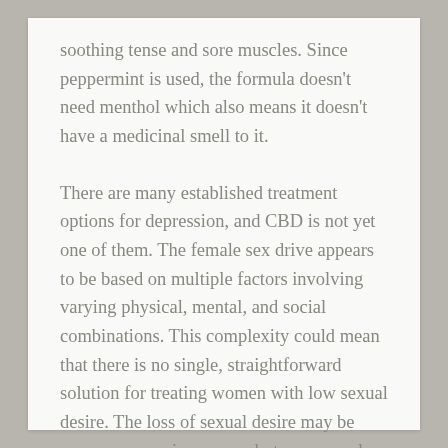soothing tense and sore muscles. Since peppermint is used, the formula doesn't need menthol which also means it doesn't have a medicinal smell to it.
There are many established treatment options for depression, and CBD is not yet one of them. The female sex drive appears to be based on multiple factors involving varying physical, mental, and social combinations. This complexity could mean that there is no single, straightforward solution for treating women with low sexual desire. The loss of sexual desire may be more common in women, but men can also frequently experience it.